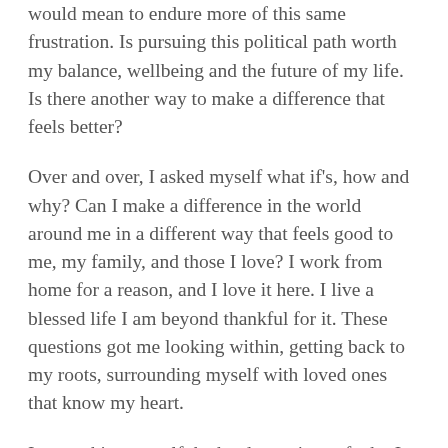would mean to endure more of this same frustration. Is pursuing this political path worth my balance, wellbeing and the future of my life. Is there another way to make a difference that feels better?
Over and over, I asked myself what if's, how and why? Can I make a difference in the world around me in a different way that feels good to me, my family, and those I love? I work from home for a reason, and I love it here. I live a blessed life I am beyond thankful for it. These questions got me looking within, getting back to my roots, surrounding myself with loved ones that know my heart.
I was asking myself the hard questions of who I want to be as I grow into this next pivotal transformation in life. I am thankful for the time I have had to contemplate the pros and cons of each choice and how it will affect me and others I care most about. I am thankful for the opportunity to see myself in the